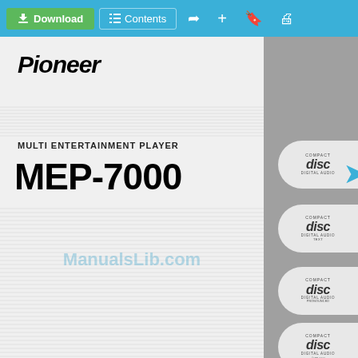[Figure (screenshot): ManualsLib.com website toolbar with Download, Contents, share, add, bookmark, and print buttons on a blue background]
[Figure (logo): Pioneer logo in bold italic black text]
MULTI ENTERTAINMENT PLAYER
MEP-7000
ManualsLib.com
[Figure (other): Four Compact Disc Digital Audio logo tabs on the right sidebar]